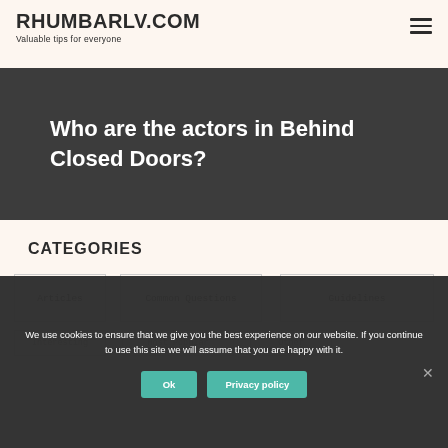RHUMBARLV.COM
Valuable tips for everyone
Who are the actors in Behind Closed Doors?
CATEGORIES
Articles
Common Questions
Guidelines
Interesting
Most Popular
Other
We use cookies to ensure that we give you the best experience on our website. If you continue to use this site we will assume that you are happy with it.
Ok
Privacy policy